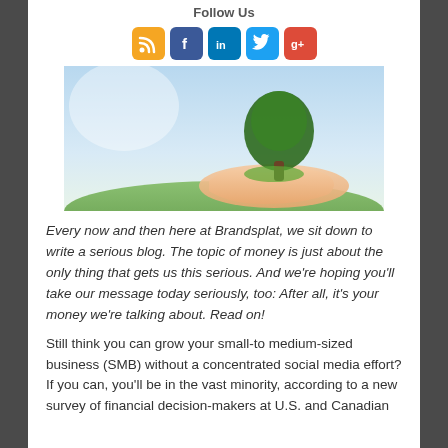Follow Us
[Figure (infographic): Social media icons: RSS (orange), Facebook (blue), LinkedIn (blue), Twitter (light blue), Google+ (red)]
[Figure (photo): Hands cupping a small green tree growing from grass, against a bright sky background]
Every now and then here at Brandsplat, we sit down to write a serious blog. The topic of money is just about the only thing that gets us this serious. And we're hoping you'll take our message today seriously, too: After all, it's your money we're talking about. Read on!
Still think you can grow your small-to medium-sized business (SMB) without a concentrated social media effort? If you can, you'll be in the vast minority, according to a new survey of financial decision-makers at U.S. and Canadian...